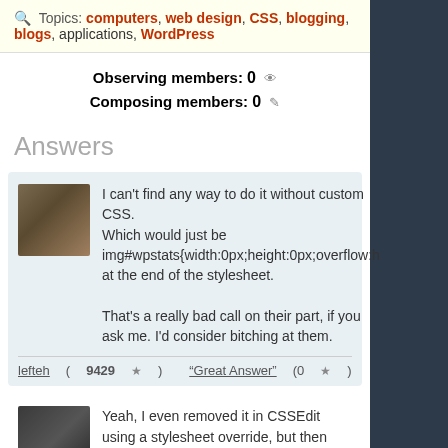Topics: computers, web design, CSS, blogging, blogs, applications, WordPress
Observing members: 0
Composing members: 0
Answers
I can't find any way to do it without custom CSS. Which would just be img#wpstats{width:0px;height:0px;overflow:h at the end of the stylesheet.

That's a really bad call on their part, if you ask me. I'd consider bitching at them.
lefteh (9429 ★)  "Great Answer" (0 ★)
Yeah, I even removed it in CSSEdit using a stylesheet override, but then couldn't be assed coughing up the $15 to be able to edit CSS. Guess I'll have to dig out my wallet (PayPal account) then. Thanks lefteh… just wanted to make sure I hadn't missed something in the admin interface.